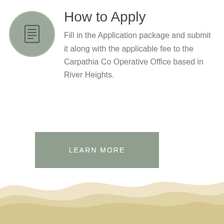[Figure (illustration): Circular icon with grey background containing a document/form symbol (lines representing text on a page)]
How to Apply
Fill in the Application package and submit it along with the applicable fee to the Carpathia Co Operative Office based in River Heights.
LEARN MORE
[Figure (illustration): Decorative sandy/dune wave pattern in beige/tan colors at the bottom of the page]